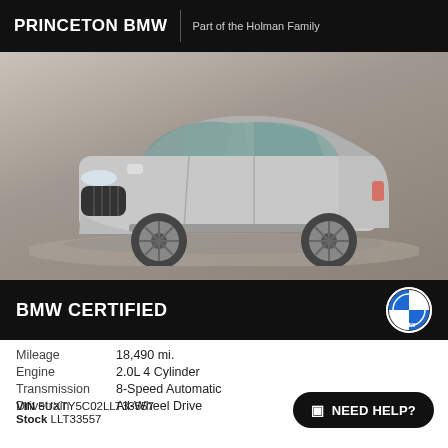PRINCETON BMW | Part of the Holman Family
[Figure (photo): Silver BMW X3 SUV photographed from a front three-quarter angle in a showroom with light gray/beige floor and walls]
BMW CERTIFIED
| Mileage | 18,490 mi. |
| Engine | 2.0L 4 Cylinder |
| Transmission | 8-Speed Automatic |
| Drivetrain | All-Wheel Drive |
VIN 5UXTY5C02LLT33557
Stock LLT33557